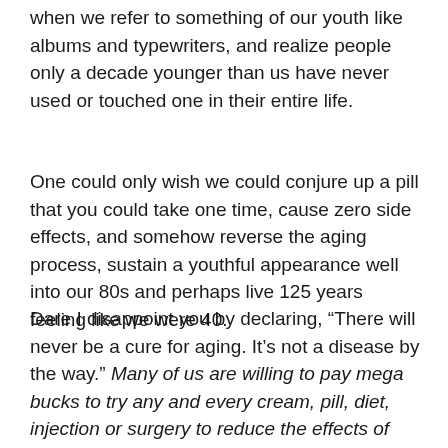when we refer to something of our youth like albums and typewriters, and realize people only a decade younger than us have never used or touched one in their entire life.
One could only wish we could conjure up a pill that you could take one time, cause zero side effects, and somehow reverse the aging process, sustain a youthful appearance well into our 80s and perhaps live 125 years feeling like we were 40.
Dare I disappoint you by declaring, “There will never be a cure for aging. It’s not a disease by the way.” Many of us are willing to pay mega bucks to try any and every cream, pill, diet, injection or surgery to reduce the effects of father time. Yet entropy is